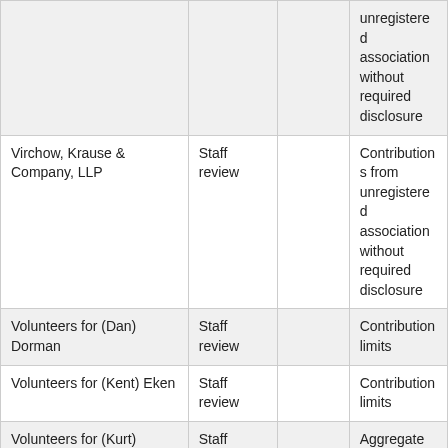|  |  |  | unregistered association without required disclosure |
| Virchow, Krause & Company, LLP | Staff review |  | Contributions from unregistered association without required disclosure |
| Volunteers for (Dan) Dorman | Staff review |  | Contribution limits |
| Volunteers for (Kent) Eken | Staff review |  | Contribution limits |
| Volunteers for (Kurt) Zellers | Staff review |  | Aggregate special source limit |
| Volunteers for (Kurt) Zellers | Staff review |  | Aggregate special source limit |
| Volunteers for (Scott) Dibble | Staff review |  |  |